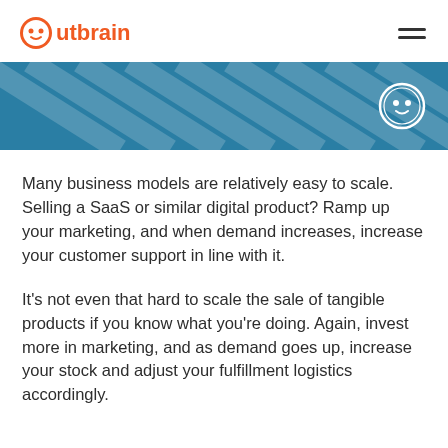Outbrain
[Figure (illustration): Teal/blue decorative banner with diagonal stripe pattern and Outbrain circular logo icon on the right]
Many business models are relatively easy to scale. Selling a SaaS or similar digital product? Ramp up your marketing, and when demand increases, increase your customer support in line with it.
It's not even that hard to scale the sale of tangible products if you know what you're doing. Again, invest more in marketing, and as demand goes up, increase your stock and adjust your fulfillment logistics accordingly.